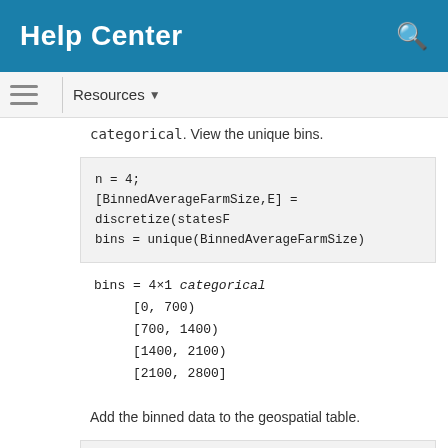Help Center
categorical. View the unique bins.
n = 4;
[BinnedAverageFarmSize,E] = discretize(statesF
bins = unique(BinnedAverageFarmSize)
bins = 4×1 categorical
    [0, 700)
    [700, 1400)
    [1400, 2100)
    [2100, 2800]
Add the binned data to the geospatial table.
statesFarms = addvars(statesFarms,BinnedAverag
Create Map